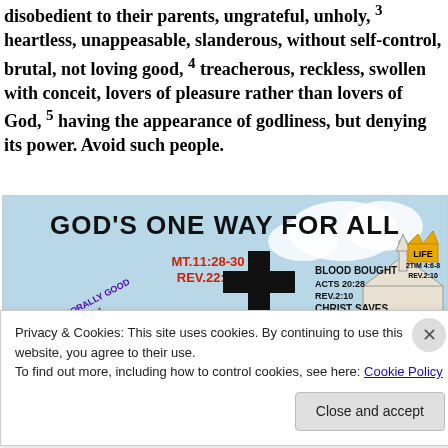disobedient to their parents, ungrateful, unholy, 3 heartless, unappeasable, slanderous, without self-control, brutal, not loving good, 4 treacherous, reckless, swollen with conceit, lovers of pleasure rather than lovers of God, 5 having the appearance of godliness, but denying its power. Avoid such people.
[Figure (photo): A hand-painted banner reading 'GOD'S ONE WAY FOR ALL' with a large black cross and church illustration. Text includes MT.11:28-30, REV.22:17, BLOOD BOUGHT ACTS 20:28, REV.2:10, CHRIST SAVES EPH.5:23, MORALLY GOOD, ACTS 10:56-44, RELIGIOUS R..., LIFE 2TIM 4:6-8.]
Privacy & Cookies: This site uses cookies. By continuing to use this website, you agree to their use.
To find out more, including how to control cookies, see here: Cookie Policy
Close and accept